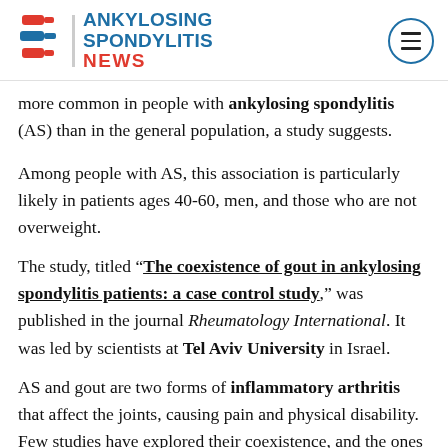ANKYLOSING SPONDYLITIS NEWS
more common in people with ankylosing spondylitis (AS) than in the general population, a study suggests.
Among people with AS, this association is particularly likely in patients ages 40-60, men, and those who are not overweight.
The study, titled “The coexistence of gout in ankylosing spondylitis patients: a case control study,” was published in the journal Rheumatology International. It was led by scientists at Tel Aviv University in Israel.
AS and gout are two forms of inflammatory arthritis that affect the joints, causing pain and physical disability. Few studies have explored their coexistence, and the ones that did reported that